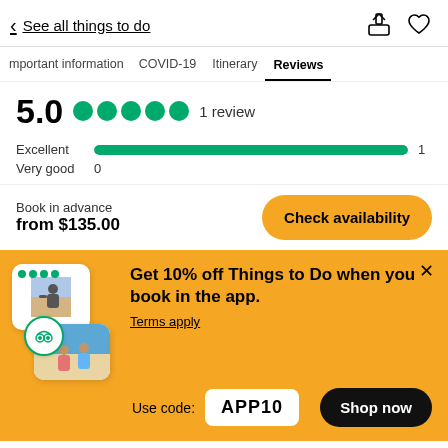< See all things to do
Important information  COVID-19  Itinerary  Reviews
5.0  1 review
Excellent 1
Very good 0
Book in advance
from $135.00
Check availability
Get 10% off Things to Do when you book in the app.
Terms apply
Use code: APP10
Shop now